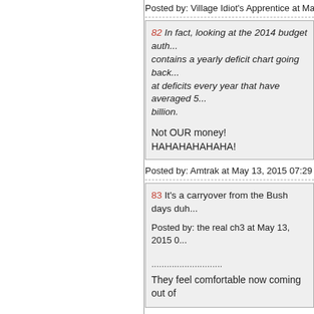Posted by: Village Idiot's Apprentice at May 13, 2...
82 In fact, looking at the 2014 budget auth... contains a yearly deficit chart going back... at deficits every year that have averaged 5... billion.

Not OUR money! HAHAHAHAHAHA!
Posted by: Amtrak at May 13, 2015 07:29 AM (o...
83 It's a carryover from the Bush days duh...

Posted by: the real ch3 at May 13, 2015 0...

....................

They feel comfortable now coming out of
Posted by: Molly k. at May 13, 2015 07:29 AM (...
84 Oohh...a double tap!